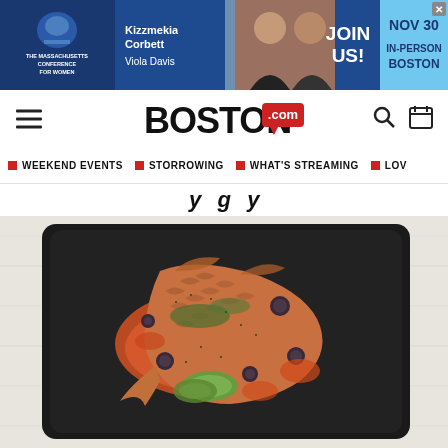[Figure (screenshot): Advertisement banner for The Massachusetts Conference for Women featuring Kizzmekia Corbett and Viola Davis, with 'JOIN US! NOV 30 IN-PERSON BOSTON' text]
[Figure (logo): Boston.com logo with hamburger menu, search icon, and calendar icon navigation]
WEEKEND EVENTS  STORROWING  WHAT'S STREAMING  LOV
y g y
[Figure (photo): A whole cooked fish served on a black square plate with vegetables, capers, and sauce, photographed from above on a white wooden surface]